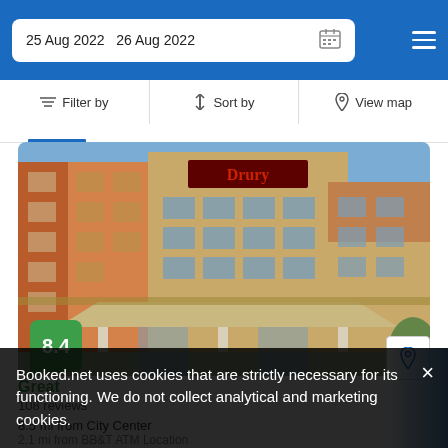25 Aug 2022  26 Aug 2022
Filter by  Sort by  View map
[Figure (photo): Drury Plaza Hotel exterior – multi-story brick building with covered entrance canopy and hotel signage on top]
8.4
Great
108 reviews
8.5 mi from City Center
2.1 mi from BB&T ATM Location
Booked.net uses cookies that are strictly necessary for its functioning. We do not collect analytical and marketing cookies.